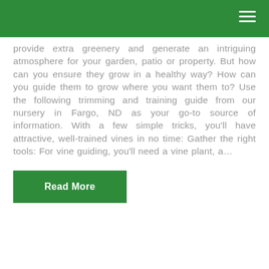provide extra greenery and generate an intriguing atmosphere for your garden, patio or property. But how can you ensure they grow in a healthy way? How can you guide them to grow where you want them to? Use the following trimming and training guide from our nursery in Fargo, ND as your go-to source of information. With a few simple tricks, you'll have attractive, well-trained vines in no time: Gather the right tools: For vine guiding, you'll need a vine plant, a…
Read More